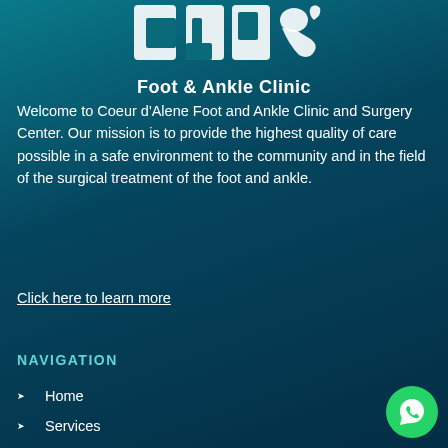[Figure (logo): CDA Foot & Ankle Clinic logo with stylized letters and foot/ankle icon in white on teal background, with text 'Foot & Ankle Clinic' below]
Welcome to Coeur d'Alene Foot and Ankle Clinic and Surgery Center. Our mission is to provide the highest quality of care possible in a safe environment to the community and in the field of the surgical treatment of the foot and ankle.
Click here to learn more
NAVIGATION
Home
Services